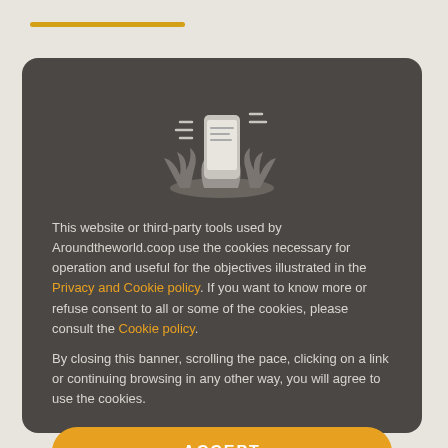[Figure (illustration): Grayscale illustration of hands holding a smartphone with motion lines and plants around it]
This website or third-party tools used by Aroundtheworld.coop use the cookies necessary for operation and useful for the objectives illustrated in the Privacy and Cookie policy. If you want to know more or refuse consent to all or some of the cookies, please consult the Cookie policy.
By closing this banner, scrolling the pace, clicking on a link or continuing browsing in any other way, you will agree to use the cookies.
ACCEPT